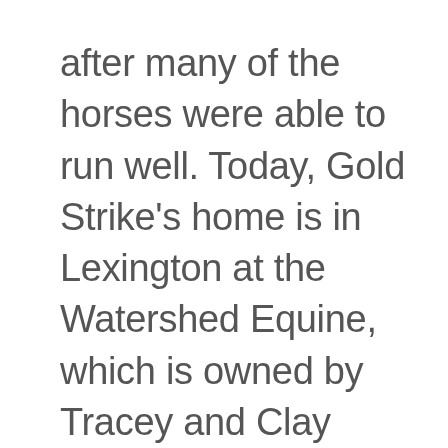after many of the horses were able to run well. Today, Gold Strike's home is in Lexington at the Watershed Equine, which is owned by Tracey and Clay Caudill, who are considered to be care specialists. They enjoy her company and how she naturally follows them around throughout the day.
The intriguing story of Rich Strike's win at the Kentucky Derby has caused rumors of